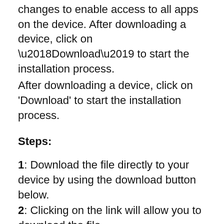changes to enable access to all apps on the device. After downloading a device, click on ‘Download’ to start the installation process.
Steps:
1: Download the file directly to your device by using the download button below.
2: Clicking on the link will allow you to download the file.
3: The download will now begin automatically. It may take some time (depending on your internet speed or the size of the files).
4: You’ll see the download file in your downloads folder. Where is the APK file I need to install?
5: After the file has been downloaded successfully, it needs to be installed.